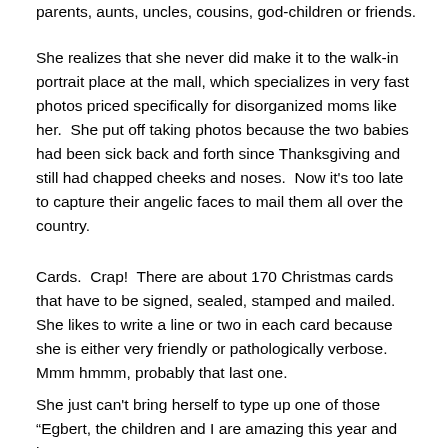parents, aunts, uncles, cousins, god-children or friends.
She realizes that she never did make it to the walk-in portrait place at the mall, which specializes in very fast photos priced specifically for disorganized moms like her.  She put off taking photos because the two babies had been sick back and forth since Thanksgiving and still had chapped cheeks and noses.  Now it's too late to capture their angelic faces to mail them all over the country.
Cards.  Crap!  There are about 170 Christmas cards that have to be signed, sealed, stamped and mailed.  She likes to write a line or two in each card because she is either very friendly or pathologically verbose.  Mmm hmmm, probably that last one.
She just can't bring herself to type up one of those "Egbert, the children and I are amazing this year and here